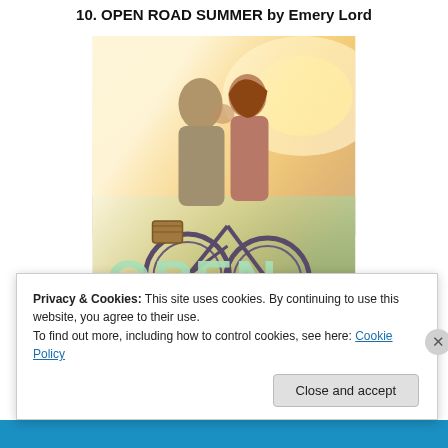10. OPEN ROAD SUMMER by Emery Lord
[Figure (photo): Book cover of 'Open Road Summer' by Emery Lord showing a couple standing near bicycles in a sunlit field, with large light-green text reading 'OPEN ROAD' overlaid on the lower half.]
Privacy & Cookies: This site uses cookies. By continuing to use this website, you agree to their use.
To find out more, including how to control cookies, see here: Cookie Policy
Close and accept